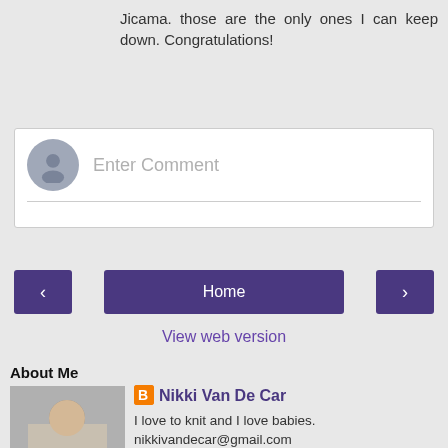Jicama. those are the only ones I can keep down. Congratulations!
Reply
[Figure (other): Comment input box with avatar circle and 'Enter Comment' placeholder text]
[Figure (other): Navigation row with left arrow button, Home button, and right arrow button]
View web version
About Me
[Figure (photo): Photo of a woman sitting with a baby]
Nikki Van De Car
I love to knit and I love babies. nikkivandecar@gmail.com
View my complete profile
Powered by Blogger.